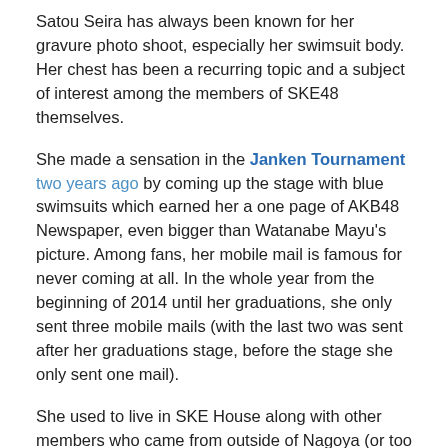Satou Seira has always been known for her gravure photo shoot, especially her swimsuit body. Her chest has been a recurring topic and a subject of interest among the members of SKE48 themselves.
She made a sensation in the Janken Tournament two years ago by coming up the stage with blue swimsuits which earned her a one page of AKB48 Newspaper, even bigger than Watanabe Mayu's picture. Among fans, her mobile mail is famous for never coming at all. In the whole year from the beginning of 2014 until her graduations, she only sent three mobile mails (with the last two was sent after her graduations stage, before the stage she only sent one mail).
She used to live in SKE House along with other members who came from outside of Nagoya (or too far away from Nagoya) and thus quite close with the members of SKE